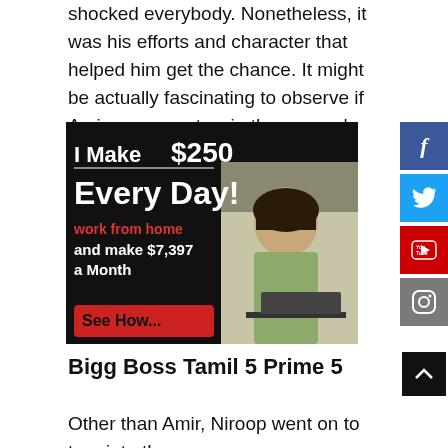shocked everybody. Nonetheless, it was his efforts and character that helped him get the chance. It might be actually fascinating to observe if Amir manages to win the season’s title too.
[Figure (infographic): Advertisement banner: 'I Make $250 Every Day! work from home and make $7,397 a Month. See How...' with woman at laptop on black background]
Bigg Boss Tamil 5 Prime 5
Other than Amir, Niroop went on to turn into the